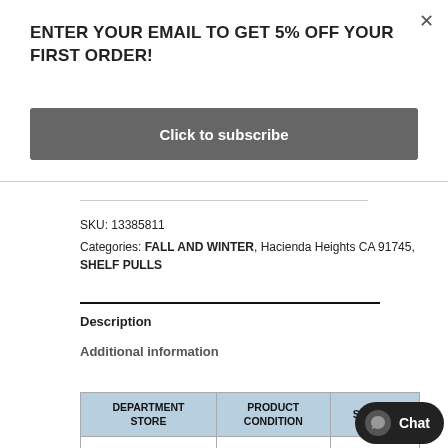×
ENTER YOUR EMAIL TO GET 5% OFF YOUR FIRST ORDER!
Click to subscribe
SKU: 13385811
Categories: FALL AND WINTER, Hacienda Heights CA 91745, SHELF PULLS
Description
Additional information
| DEPARTMENT STORE | PRODUCT CONDITION | SEASON |
| --- | --- | --- |
|  |  |  |